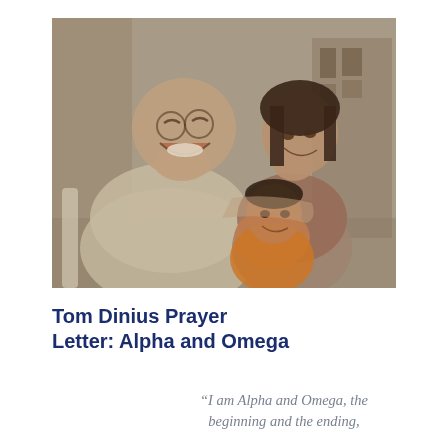[Figure (photo): A black-and-white/sepia-toned photo of three people: a large bald man in a light-colored shirt laughing on the left, a woman with dark hair smiling in the middle, and a young child in an orange shirt in the foreground, all posed together indoors with curtains visible in the background.]
Tom Dinius Prayer Letter: Alpha and Omega
“I am Alpha and Omega, the beginning and the ending,